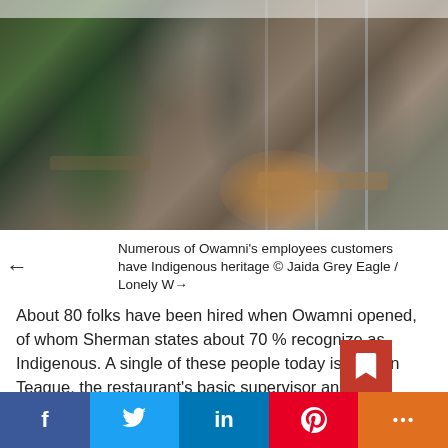[Figure (photo): Interior of Owamni restaurant with diners seated at tables and a server attending to customers. Scene shows patrons and staff in a casual dining environment.]
Numerous of Owamni's employees customers have Indigenous heritage © Jaida Grey Eagle / Lonely W→
About 80 folks have been hired when Owamni opened, of whom Sherman states about 70 % recognize as Indigenous. A single of these people today is Kareen Teague, the restaurant’s basic supervisor and bar program coordinator. He claims that though he’s labored in different dining establishments for a 2